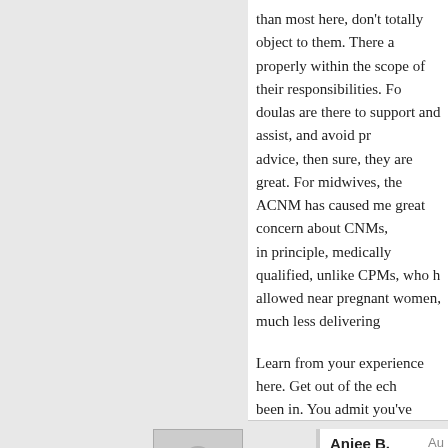than most here, don't totally object to them. There are properly within the scope of their responsibilities. For doulas are there to support and assist, and avoid advice, then sure, they are great. For midwives, the ACNM has caused me great concern about CNMs, in principle, medically qualified, unlike CPMs, who allowed near pregnant women, much less delivering
Learn from your experience here. Get out of the echo been in. You admit you've never been exposed to contrast, we've heard the other side before. Like, we reasons for the attitudes here. Go back and read the ask, what exactly do you disagree with? If there is s discuss, bring it up. Ask about it. Find out where it listen to the answers. I've learned a ton since I've st You can, too.
Anjee B.
"You just admitted that you've only been exposed story your whole life!" – This isn't quite true as the complex and there aren't two clear "sides", at l
Log in to Reply